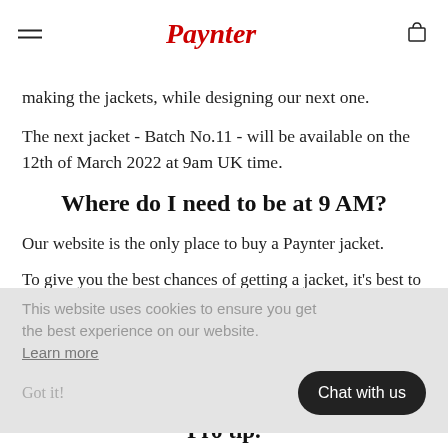Paynter [logo]
making the jackets, while designing our next one.
The next jacket - Batch No.11 - will be available on the 12th of March 2022 at 9am UK time.
Where do I need to be at 9 AM?
Our website is the only place to buy a Paynter jacket.
To give you the best chances of getting a jacket, it's best to be on the product page of the jacket that you want. Also, you'll need to decide your size before they go live.
This website uses cookies to ensure you get the best experience on our website. Learn more Got it!
Chat with us
Pro tip.